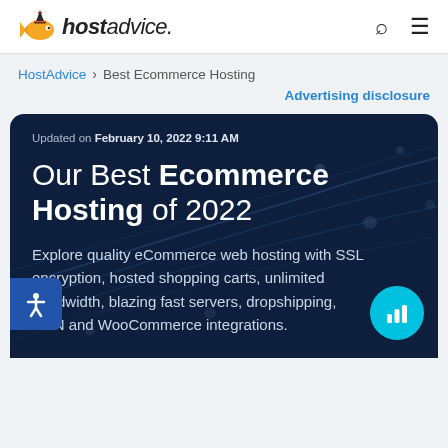hostadvice.
HostAdvice > Best Ecommerce Hosting
Advertising disclosure
Updated on February 10, 2022 9:11 AM
Our Best Ecommerce Hosting of 2022
Explore quality eCommerce web hosting with SSL encryption, hosted shopping carts, unlimited bandwidth, blazing fast servers, dropshipping, CDN and WooCommerce integrations.